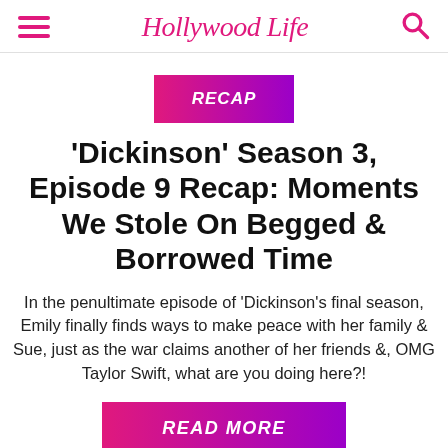HollywoodLife
RECAP
'Dickinson' Season 3, Episode 9 Recap: Moments We Stole On Begged & Borrowed Time
In the penultimate episode of 'Dickinson's final season, Emily finally finds ways to make peace with her family & Sue, just as the war claims another of her friends &, OMG Taylor Swift, what are you doing here?!
READ MORE